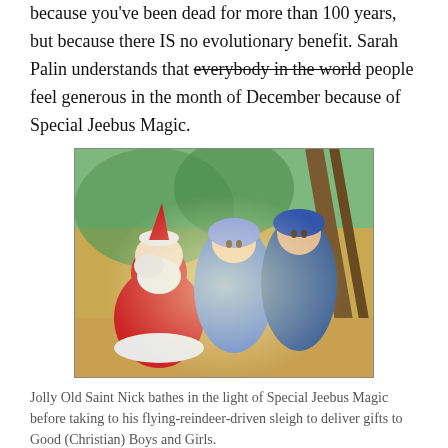because you've been dead for more than 100 years, but because there IS no evolutionary benefit. Sarah Palin understands that everybody in the world people feel generous in the month of December because of Special Jeebus Magic.
[Figure (illustration): Illustration of Santa Claus kneeling before Mary and Joseph in a nativity scene, bathed in warm light inside a stable.]
Jolly Old Saint Nick bathes in the light of Special Jeebus Magic before taking to his flying-reindeer-driven sleigh to deliver gifts to Good (Christian) Boys and Girls.